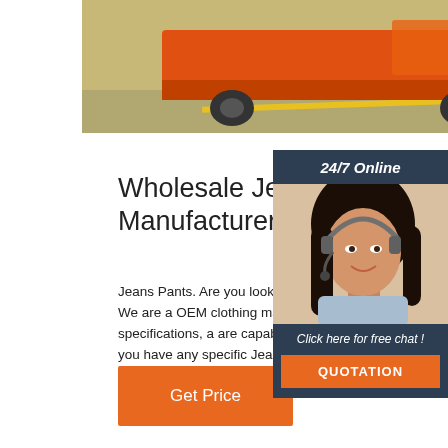[Figure (photo): Top portion of a product/warehouse page showing an orange forklift or warehouse equipment on a factory floor]
[Figure (photo): Sidebar with a woman wearing a headset customer service representative, with '24/7 Online' header, 'Click here for free chat!' text, and an orange QUOTATION button]
Wholesale Jeans Pants Manufacturer, Denim Pants
Jeans Pants. Are you looking for a high qua low cost Jeans Pants manufacturer in Bang Look no further! We are a OEM clothing manufacturer producing according to custon requirements, designs and specifications, a are capable of personalizing all of these Jea to meet your needs. Out of the styles provid if you have any specific Jeans Pants ideas/designs in ...
Get Price